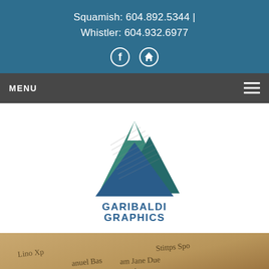Squamish: 604.892.5344 | Whistler: 604.932.6977
[Figure (logo): Garibaldi Graphics logo with mountain triangle graphic and text GARIBALDI GRAPHICS]
[Figure (photo): Close-up photo of handwritten cursive text on aged paper, partially visible]